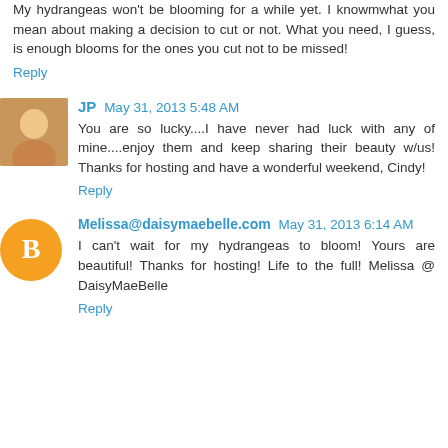My hydrangeas won't be blooming for a while yet. I knowmwhat you mean about making a decision to cut or not. What you need, I guess, is enough blooms for the ones you cut not to be missed!
Reply
JP  May 31, 2013 5:48 AM
You are so lucky....I have never had luck with any of mine....enjoy them and keep sharing their beauty w/us! Thanks for hosting and have a wonderful weekend, Cindy!
Reply
Melissa@daisymaebelle.com  May 31, 2013 6:14 AM
I can't wait for my hydrangeas to bloom! Yours are beautiful! Thanks for hosting! Life to the full! Melissa @ DaisyMaeBelle
Reply